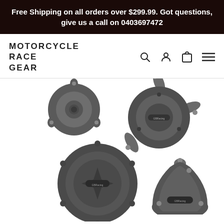Free Shipping on all orders over $299.99. Got questions, give us a call on 0403697472
MOTORCYCLE RACE GEAR
[Figure (photo): Four GBRacing motorcycle engine cover protectors arranged on white background, shown in black and grey. Top left: small round pulse cover. Top right: larger round cover with three tabs and GBRacing badge. Bottom left: large alternator/stator cover with star pattern and GBRacing badge. Bottom right: triangular/rounded rectangular pulse cover with GBRacing badge.]